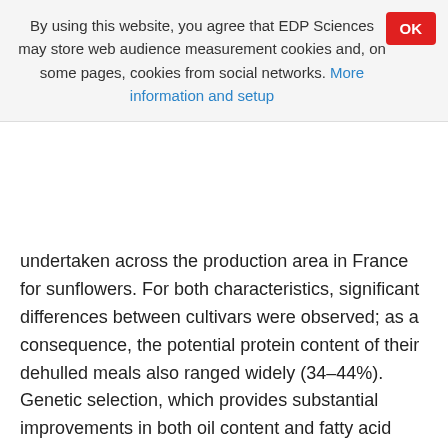By using this website, you agree that EDP Sciences may store web audience measurement cookies and, on some pages, cookies from social networks. More information and setup
undertaken across the production area in France for sunflowers. For both characteristics, significant differences between cultivars were observed; as a consequence, the potential protein content of their dehulled meals also ranged widely (34–44%). Genetic selection, which provides substantial improvements in both oil content and fatty acid composition, should therefore be expected to enhance the quality of sunflower meal.
Résumé
Le décorticage des graines de tournesol, précédant la trituration, permet d'augmenter la teneur en protéines dans le tourteau jusqu'à 36 % sur matière brute, alors qu'un tourteau obtenu sans décorticage contient 27–29 % de